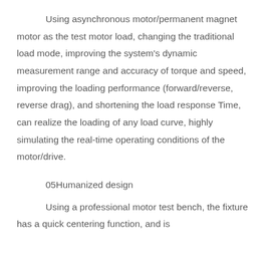Using asynchronous motor/permanent magnet motor as the test motor load, changing the traditional load mode, improving the system's dynamic measurement range and accuracy of torque and speed, improving the loading performance (forward/reverse, reverse drag), and shortening the load response Time, can realize the loading of any load curve, highly simulating the real-time operating conditions of the motor/drive.
05Humanized design
Using a professional motor test bench, the fixture has a quick centering function, and is